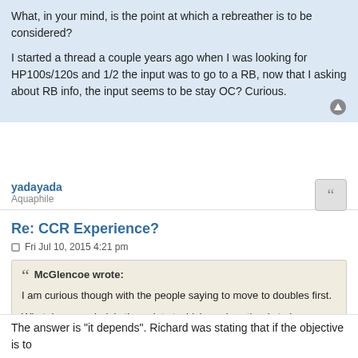What, in your mind, is the point at which a rebreather is to be considered?

I started a thread a couple years ago when I was looking for HP100s/120s and 1/2 the input was to go to a RB, now that I asking about RB info, the input seems to be stay OC? Curious.
yadayada
Aquaphile
Re: CCR Experience?
Fri Jul 10, 2015 4:21 pm
McGlencoe wrote:
I am curious though with the people saying to move to doubles first.

What, in your mind, is the point at which a rebreather is to be considered?

I started a thread a couple years ago when I was looking for HP100s/120s and 1/2 the input was to go to a RB, now that I asking about RB info, the input seems to be stay OC? Curious.
The answer is "it depends". Richard was stating that if the objective is to